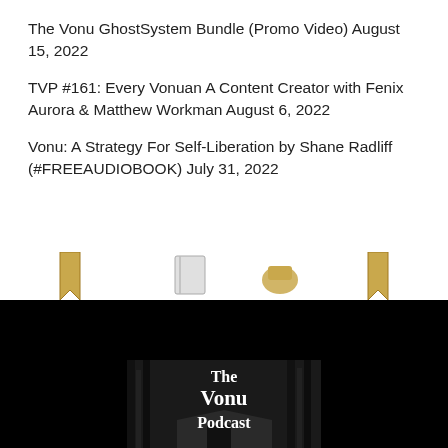The Vonu GhostSystem Bundle (Promo Video) August 15, 2022
TVP #161: Every Vonuan A Content Creator with Fenix Aurora & Matthew Workman August 6, 2022
Vonu: A Strategy For Self-Liberation by Shane Radliff (#FREEAUDIOBOOK) July 31, 2022
“Every vonuan a publisher. Those that can write well, write; those that can’t, edit.” –Tom Marshall (Rayo) | March 25, 1973
[Figure (logo): The Vonu Podcast logo showing text 'The Vonu Podcast' over a black and white forest/cabin background image]